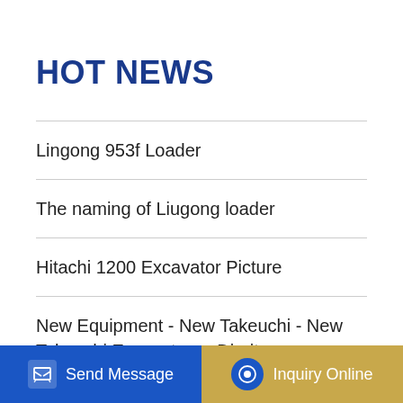HOT NEWS
Lingong 953f Loader
The naming of Liugong loader
Hitachi 1200 Excavator Picture
New Equipment - New Takeuchi - New Takeuchi Excavators - Digrite
Excavator crushes the road
10 days return 11001 Walther GraneMaster